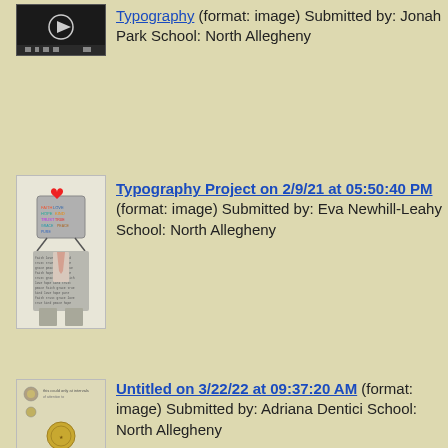[Figure (screenshot): Thumbnail of a video player with play button, dark background]
Typography (format: image) Submitted by: Jonah Park School: North Allegheny
[Figure (illustration): Typography art project: a figure with a TV-screen head filled with colorful words, wearing a suit made of text]
Typography Project on 2/9/21 at 05:50:40 PM (format: image) Submitted by: Eva Newhill-Leahy School: North Allegheny
[Figure (illustration): Small thumbnail showing a document or image with icons]
Untitled on 3/22/22 at 09:37:20 AM (format: image) Submitted by: Adriana Dentici School: North Allegheny